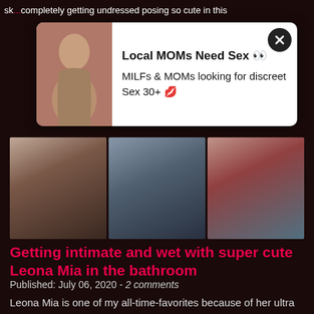sk...completely getting undressed posing so cute in this
[Figure (other): Advertisement popup with woman photo: Local MOMs Need Sex - MILFs & MOMs looking for discreet Sex 30+]
[Figure (other): Three-panel photo strip showing Leona Mia in bathroom scenes]
Getting intimate and wet with super cute Leona Mia in the bathroom
Published: July 06, 2020 - 2 comments
Leona Mia is one of my all-time-favorites because of her ultra skinny body and her gorgeous and cute girly face. Her legs and hips are so super slim and tight you